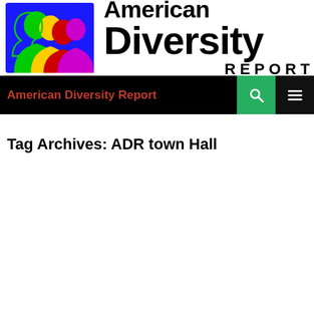[Figure (logo): American Diversity Report logo with colorful face silhouettes icon and bold text 'American Diversity Report']
American Diversity Report
Tag Archives: ADR town Hall